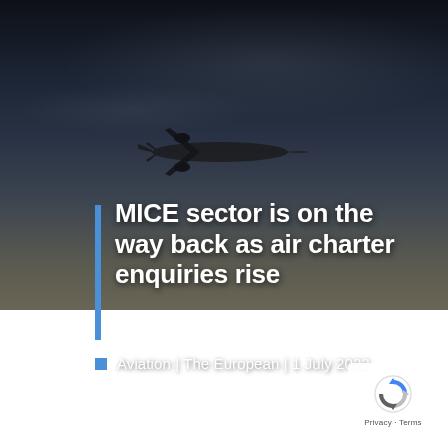[Figure (photo): Dark dramatic sky with airplane silhouette taking off, moody storm clouds]
MICE sector is on the way back as air charter enquiries rise
Aviation | The European | 1 July 2022
[Figure (photo): Green tinted architectural photo showing arched glass roof structure]
[Figure (logo): Google reCAPTCHA logo badge with Privacy and Terms text]